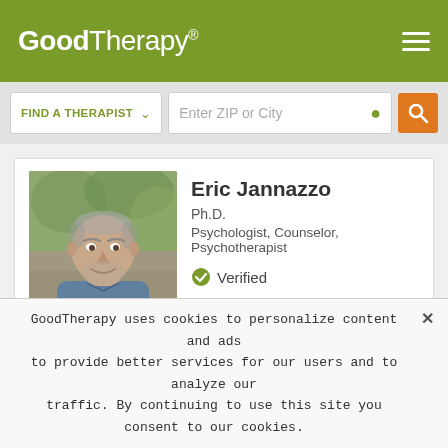GoodTherapy®
FIND A THERAPIST ∨   Enter ZIP or City 🔍
Eric Jannazzo
Ph.D.
Psychologist, Counselor, Psychotherapist
✓ Verified
Seattle, WA 98103
My clients describe me as kind and receptive, yet also extremely engaged and, at times where it's necessary, challenging. I don't just
GoodTherapy uses cookies to personalize content and ads to provide better services for our users and to analyze our traffic. By continuing to use this site you consent to our cookies.